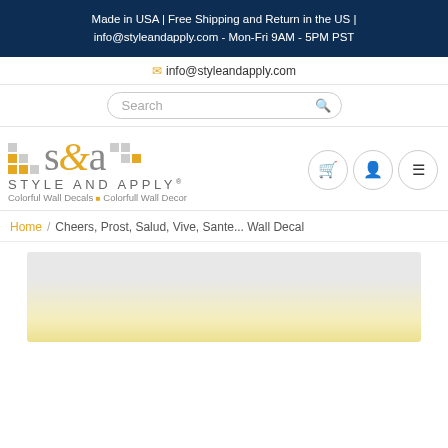Made in USA | Free Shipping and Return in the US | info@styleandapply.com - Mon-Fri 9AM - 5PM PST
info@styleandapply.com
[Figure (screenshot): Search input bar with magnifying glass icon]
[Figure (logo): Style and Apply logo with decorative dot grid pattern, s&a stylized text, subtitle reading STYLE AND APPLY with registered trademark, tagline Colorful Wall Decals and Colorfull Wall Decor]
[Figure (infographic): Navigation icon buttons: shopping cart, person/account, and hamburger menu]
Home / Cheers, Prost, Salud, Vive, Sante... Wall Decal
[Figure (photo): Product image showing a light gradient background, gray at top fading to warm yellowish glow at bottom]